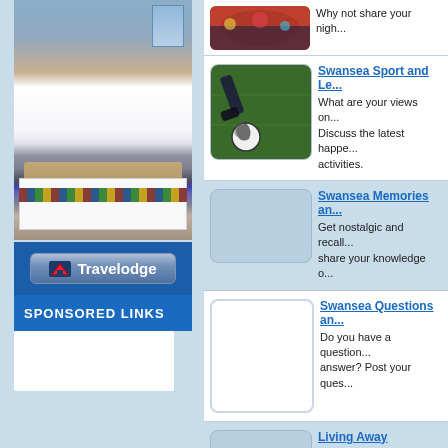[Figure (photo): Hotel room with bed and Travelodge branding]
[Figure (logo): Travelodge button/logo]
SPONSORED LINKS
Why not share your nigh...
[Figure (photo): Soccer/football on grass field]
Swansea Sport and Le... What are your views on... Discuss the latest happe... activities.
Swansea Memories an... Get nostalgic and recall... share your knowledge o...
Swansea Questions an... Do you have a question... answer? Post your ques...
Living Away If you were born in Swa... now living further afield,... community.
Friends & Relatives Lost touch with old scho...